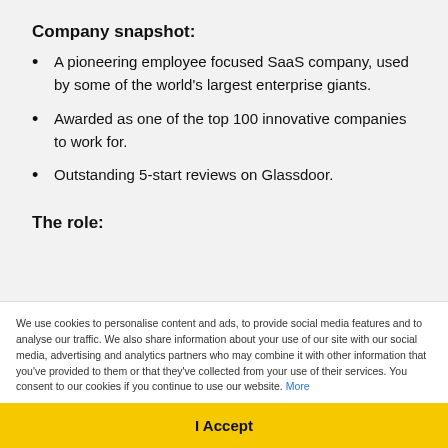Company snapshot:
A pioneering employee focused SaaS company, used by some of the world's largest enterprise giants.
Awarded as one of the top 100 innovative companies to work for.
Outstanding 5-start reviews on Glassdoor.
The role:
Getting involved and managing the sales cycle, short-term you'll be building an
We use cookies to personalise content and ads, to provide social media features and to analyse our traffic. We also share information about your use of our site with our social media, advertising and analytics partners who may combine it with other information that you've provided to them or that they've collected from your use of their services. You consent to our cookies if you continue to use our website. More
I Accept